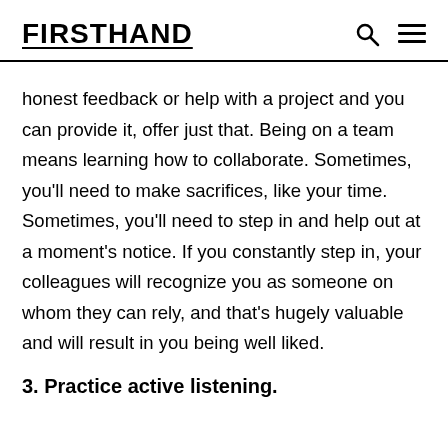FIRSTHAND
honest feedback or help with a project and you can provide it, offer just that. Being on a team means learning how to collaborate. Sometimes, you'll need to make sacrifices, like your time. Sometimes, you'll need to step in and help out at a moment's notice. If you constantly step in, your colleagues will recognize you as someone on whom they can rely, and that's hugely valuable and will result in you being well liked.
3. Practice active listening.